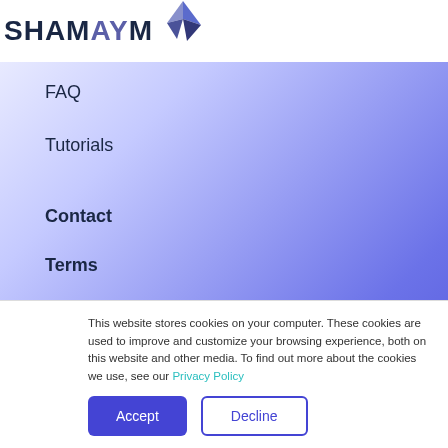[Figure (logo): SHAMAYM logo with stylized bird icon in blue and dark navy colors]
FAQ
Tutorials
Contact
Terms
Privacy
This website stores cookies on your computer. These cookies are used to improve and customize your browsing experience, both on this website and other media. To find out more about the cookies we use, see our Privacy Policy
Accept | Decline